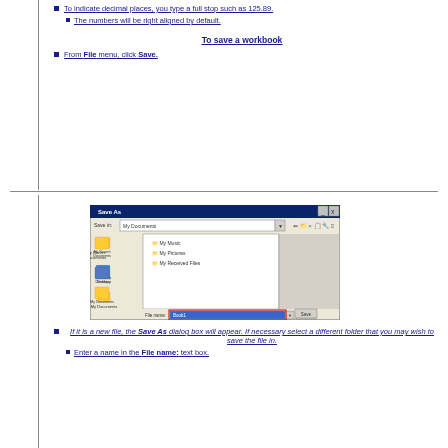To indicate decimal places, you type a full stop such as 125.89.
The numbers will be right aligned by default.
To save a workbook
From File menu, click Save.
[Figure (screenshot): Save As dialog box in Microsoft Windows XP showing My Documents folder with file name field highlighted in blue and Save/Cancel buttons]
If it is a new file, the Save As dialog box will appear. If necessary select a different folder that you may wish to save the file in.
Enter a name in the File name: text box.